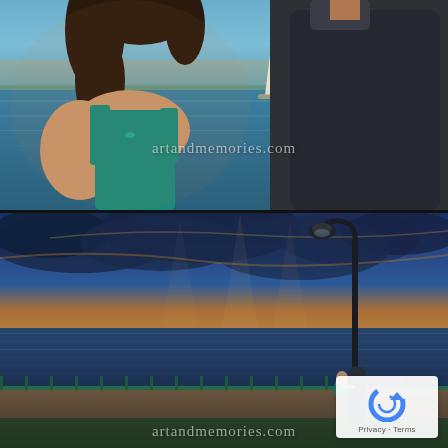[Figure (photo): Close-up photo of a couple facing each other near a waterfront, woman in teal dress with curly hair, man in dark jacket, sailboat visible on the water behind them, with watermark 'artandmemories.com']
[Figure (photo): Wide-angle photo of a couple embracing under a lamppost at a waterfront promenade during sunset, dramatic cloudy sky with blue and gold tones, green fence and water in background, with watermark 'artandmemories.com' and a Google reCAPTCHA privacy badge in lower right corner]